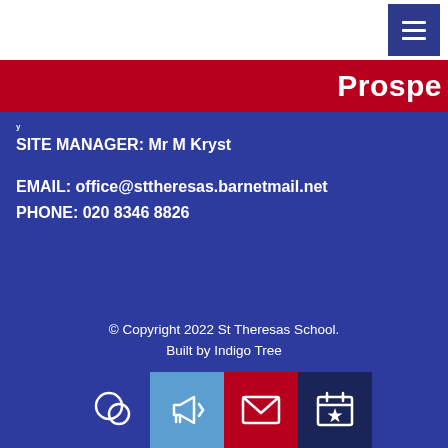Prospe
SITE MANAGER: Mr M Kryst
EMAIL: office@sttheresas.barnetmail.net
PHONE: 020 8346 8826
© Copyright 2022 St Theresas School.
Built by Indigo Tree
[Figure (illustration): Four icon buttons in a row: speech bubble / chat icon (transparent background), megaphone/announcement icon (light blue background), envelope/mail icon (red background), calendar with star icon (dark navy background)]